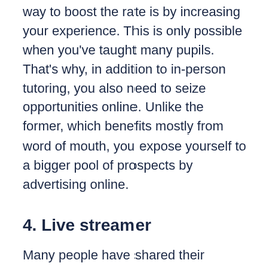way to boost the rate is by increasing your experience. This is only possible when you've taught many pupils. That's why, in addition to in-person tutoring, you also need to seize opportunities online. Unlike the former, which benefits mostly from word of mouth, you expose yourself to a bigger pool of prospects by advertising online.
4. Live streamer
Many people have shared their stories of finding success on platforms like Twitch and Youtube. It's not an exaggeration to believe that being a live streamer can be a